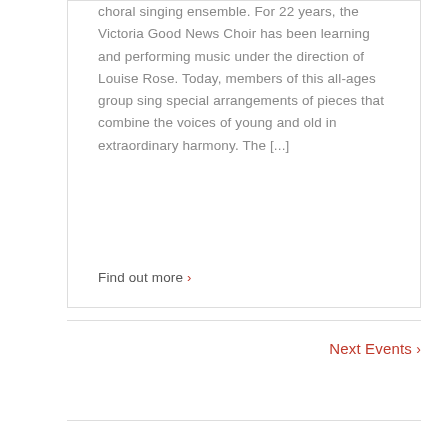choral singing ensemble. For 22 years, the Victoria Good News Choir has been learning and performing music under the direction of Louise Rose. Today, members of this all-ages group sing special arrangements of pieces that combine the voices of young and old in extraordinary harmony. The [...]
Find out more ›
Next Events ›